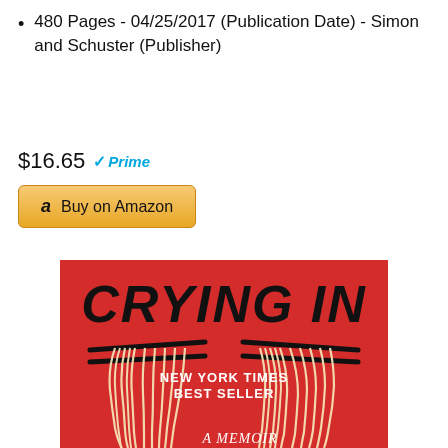480 Pages - 04/25/2017 (Publication Date) - Simon and Schuster (Publisher)
$16.65 Prime
[Figure (other): Buy on Amazon button with Amazon logo 'a' icon, golden/yellow gradient button]
[Figure (illustration): Book cover of 'Crying In' - red background with black bold italic title text 'CRYING IN', two bunches of noodles held by chopsticks on left and right, center text 'NEW YORK TIMES BEST SELLER' in white, bottom text 'A MEMOIR' in white italic]